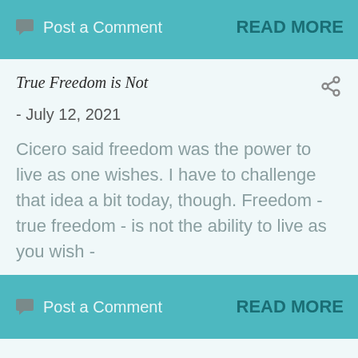Post a Comment   READ MORE
True Freedom is Not
- July 12, 2021
Cicero said freedom was the power to live as one wishes. I have to challenge that idea a bit today, though. Freedom - true freedom - is not the ability to live as you wish -
Post a Comment   READ MORE